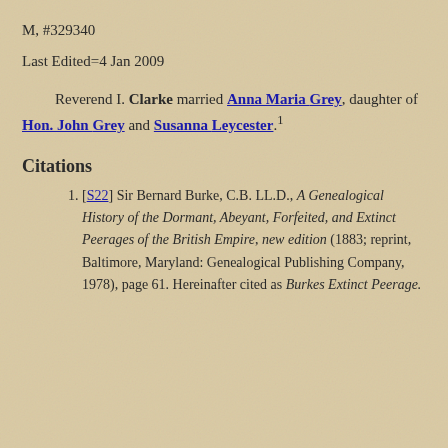M, #329340
Last Edited=4 Jan 2009
Reverend I. Clarke married Anna Maria Grey, daughter of Hon. John Grey and Susanna Leycester.1
Citations
[S22] Sir Bernard Burke, C.B. LL.D., A Genealogical History of the Dormant, Abeyant, Forfeited, and Extinct Peerages of the British Empire, new edition (1883; reprint, Baltimore, Maryland: Genealogical Publishing Company, 1978), page 61. Hereinafter cited as Burkes Extinct Peerage.